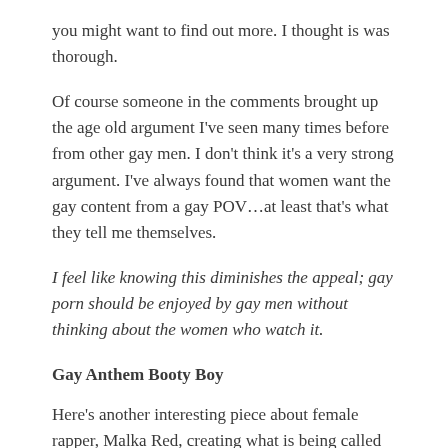you might want to find out more. I thought is was thorough.
Of course someone in the comments brought up the age old argument I've seen many times before from other gay men. I don't think it's a very strong argument. I've always found that women want the gay content from a gay POV…at least that's what they tell me themselves.
I feel like knowing this diminishes the appeal; gay porn should be enjoyed by gay men without thinking about the women who watch it.
Gay Anthem Booty Boy
Here's another interesting piece about female rapper, Malka Red, creating what is being called another gay anthem…Booty Boy. And she didn't even know she was